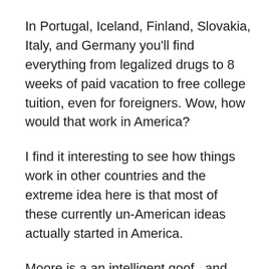In Portugal, Iceland, Finland, Slovakia, Italy, and Germany you'll find everything from legalized drugs to 8 weeks of paid vacation to free college tuition, even for foreigners. Wow, how would that work in America?
I find it interesting to see how things work in other countries and the extreme idea here is that most of these currently un-American ideas actually started in America.
Moore is a an intelligent goof,  and over the years we have had multiple conversations about his work. What I like about “Where to Invade Next,” is it’s an exercise in listening and learning. No ugly Americans allowed.
Back to the school lunches in France. Where did our